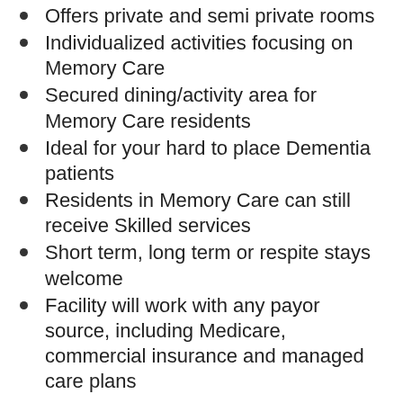Offers private and semi private rooms
Individualized activities focusing on Memory Care
Secured dining/activity area for Memory Care residents
Ideal for your hard to place Dementia patients
Residents in Memory Care can still receive Skilled services
Short term, long term or respite stays welcome
Facility will work with any payor source, including Medicare, commercial insurance and managed care plans
If you or a loved one is interested in choosing our facility for your healthcare needs, we encourage you to schedule a tour and see what